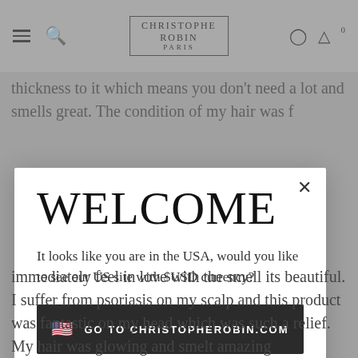CHRISTOPHE ROBIN PARIS
thickness to it which means you don't need a lot and smells great. The condition of my hair was f...
WELCOME
It looks like you are in the USA, would you like to see our US site with $USD currency?
🇺🇸  GO TO CHRISTOPHEROBIN.COM
No Thanks, Stay on CHRISTOPHEROBIN.CA
immediately feel in love with the smell its beautiful. I suffer from psoriasis on my scalp and this product was fantastic on my head which was such a relief. My hair was glowing and smelt amazing